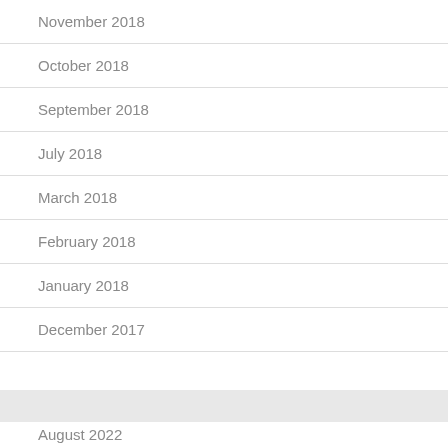November 2018
October 2018
September 2018
July 2018
March 2018
February 2018
January 2018
December 2017
August 2022